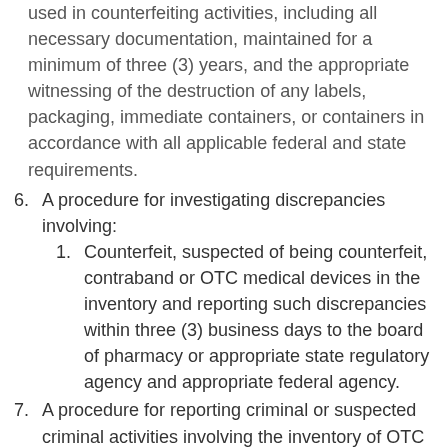used in counterfeiting activities, including all necessary documentation, maintained for a minimum of three (3) years, and the appropriate witnessing of the destruction of any labels, packaging, immediate containers, or containers in accordance with all applicable federal and state requirements.
6. A procedure for investigating discrepancies involving:
1. Counterfeit, suspected of being counterfeit, contraband or OTC medical devices in the inventory and reporting such discrepancies within three (3) business days to the board of pharmacy or appropriate state regulatory agency and appropriate federal agency.
7. A procedure for reporting criminal or suspected criminal activities involving the inventory of OTC